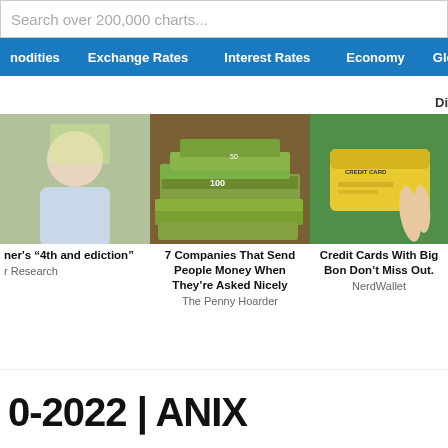Search over 200,000 charts...
nodities  Exchange Rates  Interest Rates  Economy  Glo
Di
[Figure (photo): Man outdoors with yellow background - partial image]
[Figure (photo): Stacks of US dollar bills (100s and 50s)]
[Figure (photo): Hand holding a yellow credit card against green background]
ner's "4th and ediction"
r Research
7 Companies That Send People Money When They're Asked Nicely
The Penny Hoarder
Credit Cards With Big Bon Don't Miss Out.
NerdWallet
0-2022 | ANIX